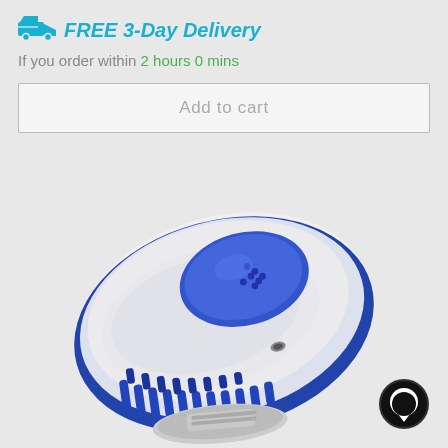FREE 3-Day Delivery
If you order within 2 hours 0 mins
Add to cart
[Figure (photo): Blue and white oval-shaped pet grooming brush/shampoo dispenser with blue rubber bristles on the bottom and a blue oval pad on top, shown on a light grey background]